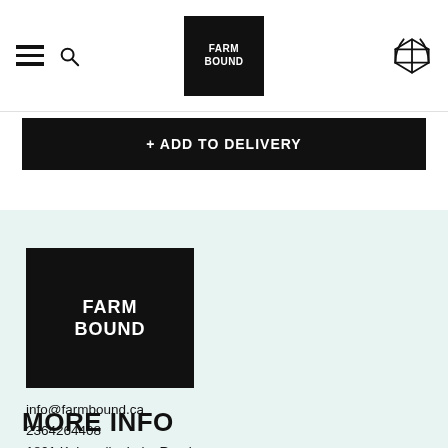Farm Bound navigation header with hamburger menu, search icon, logo, and cart icon
+ ADD TO DELIVERY
[Figure (logo): Farm Bound logo — black square with white text reading FARM BOUND]
info@farmbound.ca
2364264408
1801 Kalamalka Lake Road
Vernon, British Columbia
V1T6V5
MORE INFO